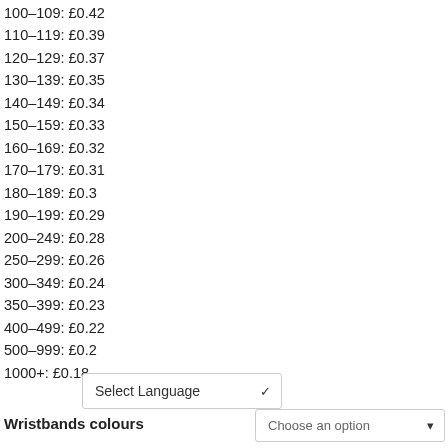100–109: £0.42
110–119: £0.39
120–129: £0.37
130–139: £0.35
140–149: £0.34
150–159: £0.33
160–169: £0.32
170–179: £0.31
180–189: £0.3
190–199: £0.29
200–249: £0.28
250–299: £0.26
300–349: £0.24
350–399: £0.23
400–499: £0.22
500–999: £0.2
1000+: £0.18
Select Language
Choose an option
Wristbands colours